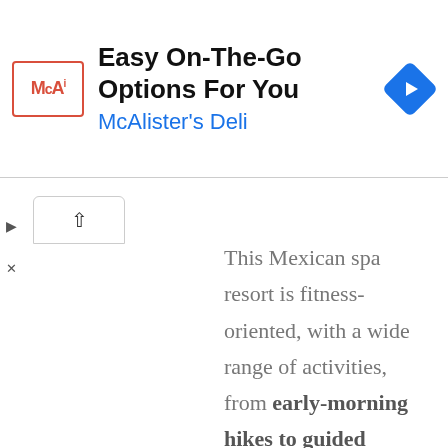[Figure (screenshot): McAlister's Deli advertisement banner with logo, title 'Easy On-The-Go Options For You', subtitle 'McAlister's Deli', and a blue diamond navigation icon]
This Mexican spa resort is fitness-oriented, with a wide range of activities, from early-morning hikes to guided meditation while walking the labyrinth. The resort has an organic farm and a cooking school, as well as